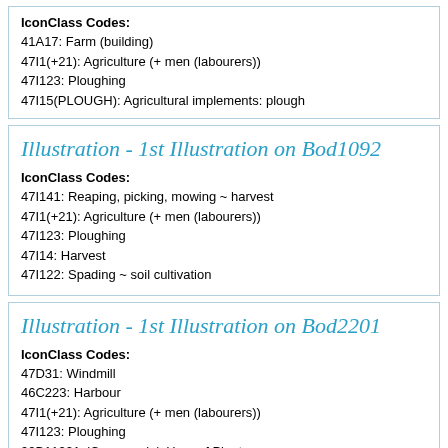IconClass Codes:
41A17: Farm (building)
47I1(+21): Agriculture (+ men (labourers))
47I123: Ploughing
47I15(PLOUGH): Agricultural implements: plough
Illustration - 1st Illustration on Bod1092
IconClass Codes:
47I141: Reaping, picking, mowing ~ harvest
47I1(+21): Agriculture (+ men (labourers))
47I123: Ploughing
47I14: Harvest
47I122: Spading ~ soil cultivation
Illustration - 1st Illustration on Bod2201
IconClass Codes:
47D31: Windmill
46C223: Harbour
47I1(+21): Agriculture (+ men (labourers))
47I123: Ploughing
92B11221: 'Cornucopia', Horn of Plenty
24A1: Sunrise